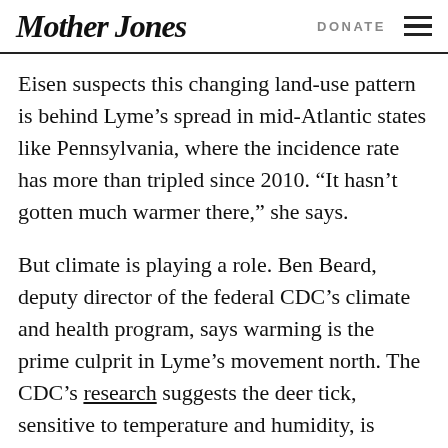Mother Jones | DONATE
Eisen suspects this changing land-use pattern is behind Lyme’s spread in mid-Atlantic states like Pennsylvania, where the incidence rate has more than tripled since 2010. “It hasn’t gotten much warmer there,” she says.
But climate is playing a role. Ben Beard, deputy director of the federal CDC’s climate and health program, says warming is the prime culprit in Lyme’s movement north. The CDC’s research suggests the deer tick, sensitive to temperature and humidity, is moving farther into arctic latitudes as warm months grow hotter and longer. Rising temperatures affect tick activity, pushing the Lyme season beyond its